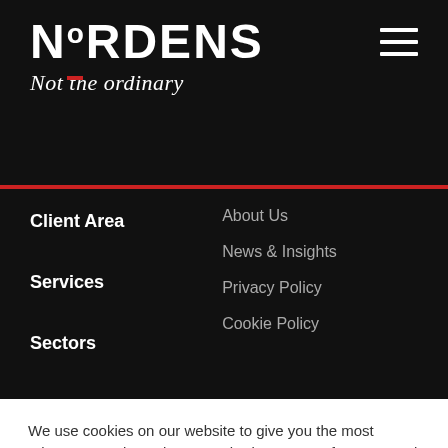[Figure (logo): Nordens logo with red dash between N and O, with tagline 'Not the ordinary' in italic below]
Client Area
Services
Sectors
About Us
News & Insights
Privacy Policy
Cookie Policy
We use cookies on our website to give you the most relevant experience by remembering your preferences and repeat visits. By clicking “Accept All”, you consent to the use of ALL the cookies. However, you may visit "Cookie Settings" to provide a controlled consent.